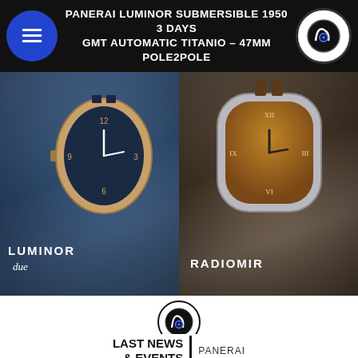PANERAI LUMINOR SUBMERSIBLE 1950 3 DAYS GMT AUTOMATIC TITANIO – 47MM POLE2POLE
[Figure (photo): Two-panel watch banner: left panel shows Luminor Due watch on rocky underwater background with text LUMINOR due; right panel shows Radiomir watch on rocky background with text RADIOMIR]
[Figure (logo): Circular logo with stylized L and a letter inside, black and white with blue accent]
LAST NEWS & EVENTS | PANERAI
[Figure (photo): Close-up of Luminor Panerai Luna Rossa white dial watch with red small seconds hand on black background]
[Figure (photo): Dark caseback/movement view of Panerai watch showing blue hands and skeleton movement, with FR badge and scroll-up button]